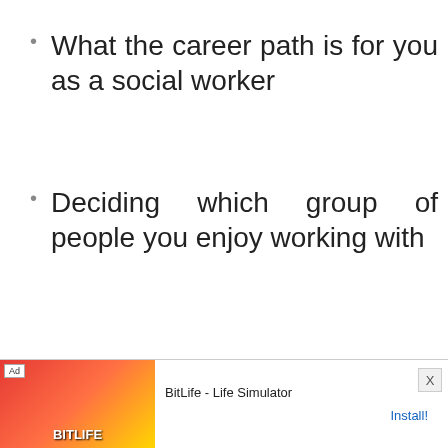What the career path is for you as a social worker
Deciding which group of people you enjoy working with
Develo… networ…
Trainin… opportunities
[Figure (screenshot): Ad banner at bottom: BitLife - Life Simulator app advertisement with Install button and close X button]